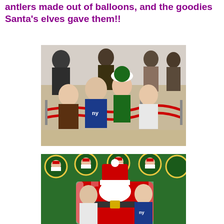antlers made out of balloons, and the goodies Santa's elves gave them!!
[Figure (photo): Children and a woman dressed as an elf posing in a store with red rope barriers. A boy in a NY Giants jersey stands in the center.]
[Figure (photo): Two young boys sitting on Santa Claus's lap in front of a green holiday backdrop with circular Christmas logos.]